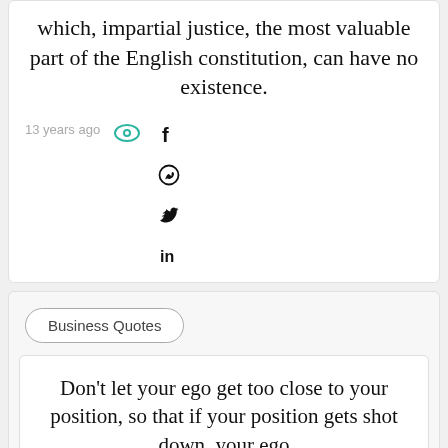which, impartial justice, the most valuable part of the English constitution, can have no existence.
13 years ago
Business Quotes
Don't let your ego get too close to your position, so that if your position gets shot down, your ego